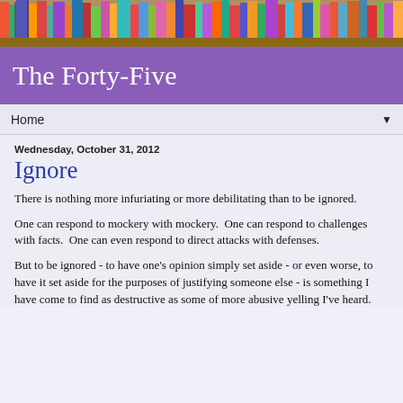[Figure (photo): Bookshelf with colorful books at the top of the page]
The Forty-Five
Home ▼
Wednesday, October 31, 2012
Ignore
There is nothing more infuriating or more debilitating than to be ignored.
One can respond to mockery with mockery.  One can respond to challenges with facts.  One can even respond to direct attacks with defenses.
But to be ignored - to have one's opinion simply set aside - or even worse, to have it set aside for the purposes of justifying someone else - is something I have come to find as destructive as some of more abusive yelling I've heard.